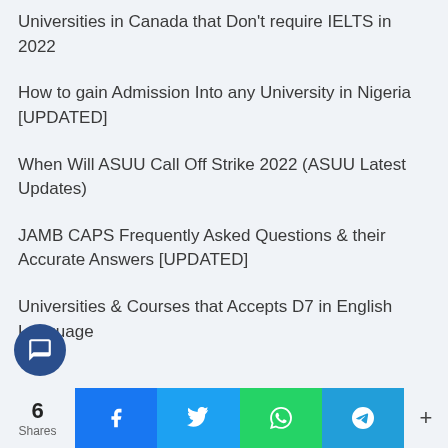Universities in Canada that Don't require IELTS in 2022
How to gain Admission Into any University in Nigeria [UPDATED]
When Will ASUU Call Off Strike 2022 (ASUU Latest Updates)
JAMB CAPS Frequently Asked Questions & their Accurate Answers [UPDATED]
Universities & Courses that Accepts D7 in English Language
6 Shares  [Facebook] [Twitter] [WhatsApp] [Telegram] +